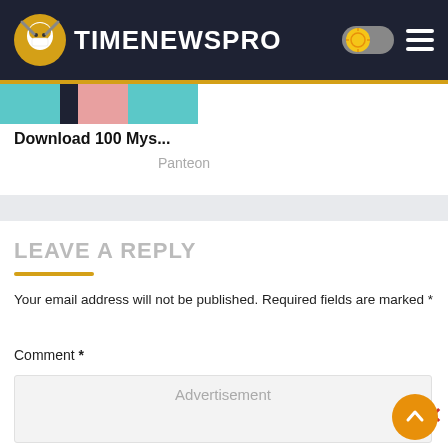TIMENEWSPRO
Download 100 Mys...
Panteon
LEAVE A REPLY
Your email address will not be published. Required fields are marked *
Comment *
[Figure (other): Comment text area with Advertisement placeholder text]